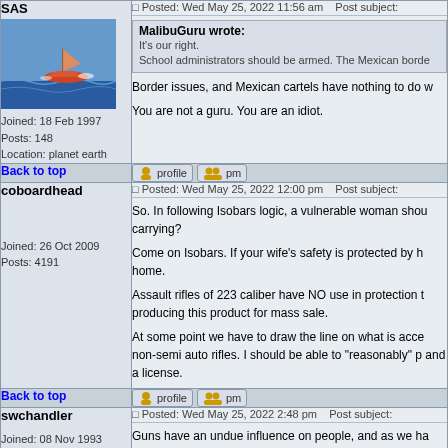SAS
[Figure (photo): Avatar image showing a boat or watercraft on ocean water]
Joined: 18 Feb 1997
Posts: 148
Location: planet earth
Posted: Wed May 25, 2022 11:56 am    Post subject:
MalibuGuru wrote:
It's our right.
School administrators should be armed. The Mexican borde
Border issues, and Mexican cartels have nothing to do w
You are not a guru. You are an idiot.
Back to top
profile   pm
coboardhead
Joined: 26 Oct 2009
Posts: 4191
Posted: Wed May 25, 2022 12:00 pm    Post subject:
So. In following Isobars logic, a vulnerable woman shou carrying?
Come on Isobars. If your wife's safety is protected by h home.
Assault rifles of 223 caliber have NO use in protection t producing this product for mass sale.
At some point we have to draw the line on what is acce non-semi auto rifles. I should be able to "reasonably" p and a license.
Back to top
profile   pm
swchandler
Joined: 08 Nov 1993
Posts: 10493
Posted: Wed May 25, 2022 2:48 pm    Post subject:
Guns have an undue influence on people, and as we ha promotionary rants about guns reveals just how twisted guns are a necessary part of life. The everpresent fear